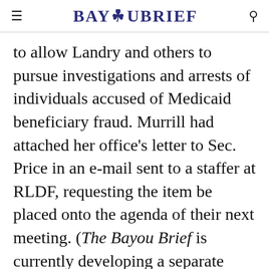BAYOUBRIEF
to allow Landry and others to pursue investigations and arrests of individuals accused of Medicaid beneficiary fraud. Murrill had attached her office's letter to Sec. Price in an e-mail sent to a staffer at RLDF, requesting the item be placed onto the agenda of their next meeting. (The Bayou Brief is currently developing a separate story about this effort, which we hope to publish within